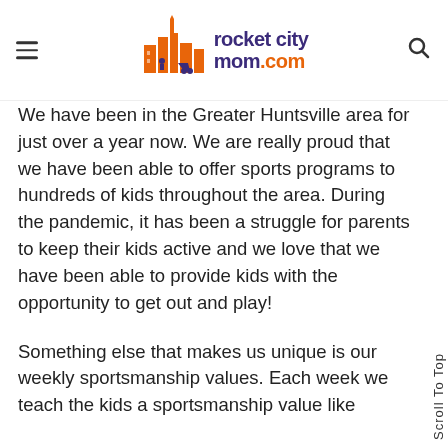rocket city mom.com
We have been in the Greater Huntsville area for just over a year now. We are really proud that we have been able to offer sports programs to hundreds of kids throughout the area. During the pandemic, it has been a struggle for parents to keep their kids active and we love that we have been able to provide kids with the opportunity to get out and play!
Something else that makes us unique is our weekly sportsmanship values. Each week we teach the kids a sportsmanship value like